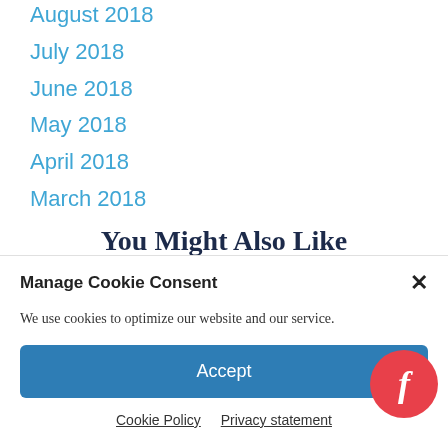August 2018
July 2018
June 2018
May 2018
April 2018
March 2018
You Might Also Like
[Figure (photo): Two photos side by side partially visible: left shows landscape/field scene with sky, right shows light beige background with diagonal lines]
Manage Cookie Consent
We use cookies to optimize our website and our service.
Accept
Cookie Policy   Privacy statement